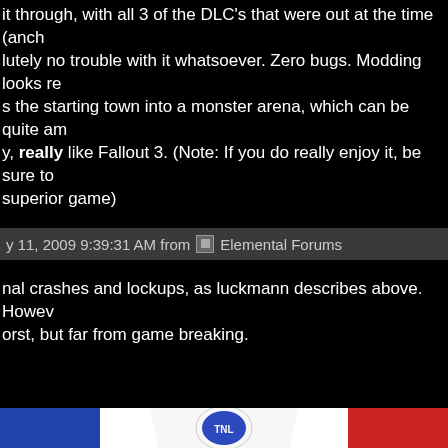it through, with all 3 of the DLC's that were out at the time (anch... lutely no trouble with it whatsoever. Zero bugs. Modding looks re... s the starting town into a monster arena, which can be quite am... y, really like Fallout 3. (Note: If you do really enjoy it, be sure to... superior game)
y 11, 2009 9:39:31 AM from  Elemental Forums
nal crashes and lockups, as luckmann describes above. Howev... orst, but far from game breaking.
[Figure (photo): Partial bottom image showing a colorful logo/banner with blue, red, and white colors, partially visible at the bottom of the page.]